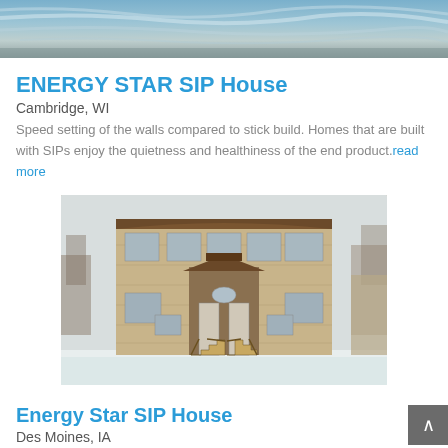[Figure (photo): Aerial/sky photo used as top banner image]
ENERGY STAR SIP House
Cambridge, WI
Speed setting of the walls compared to stick build. Homes that are built with SIPs enjoy the quietness and healthiness of the end product. read more
[Figure (photo): Photo of a two-story brick building in winter with snow on the ground, featuring two staircases and a central entrance]
Energy Star SIP House
Des Moines, IA